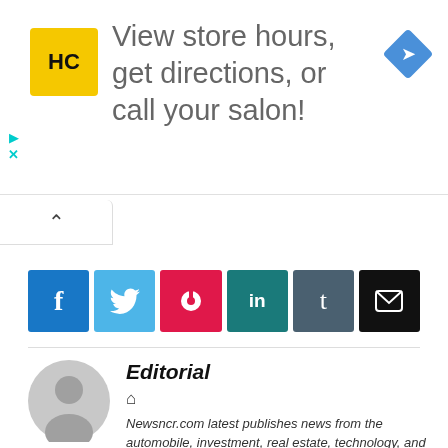[Figure (infographic): Advertisement banner with HC logo (yellow background, black HC text), large gray text 'View store hours, get directions, or call your salon!', and a blue diamond navigation icon on the right. Small cyan play and X controls on the left.]
[Figure (other): Collapse/expand button with an upward caret arrow]
[Figure (infographic): Social share buttons row: Facebook (blue, f), Twitter (light blue, bird), Pinterest (red, p pin), LinkedIn (teal, in), Tumblr (dark slate, t), Email (black, envelope)]
[Figure (illustration): Gray circular avatar/profile placeholder icon]
Editorial
Newsncr.com latest publishes news from the automobile, investment, real estate, technology, and related sectors. But in addition to that, we also cover lifestyle topics, like fashion, food, travel, and health. Along with all these, we also